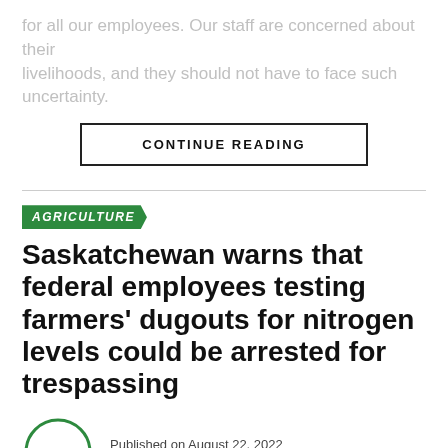for all our employees. Our staff are concerned about their livelihoods, and they should not have to face such uncertainty.
CONTINUE READING
AGRICULTURE
Saskatchewan warns that federal employees testing farmers' dugouts for nitrogen levels could be arrested for trespassing
Published on August 22, 2022
By Duane Rolheiser